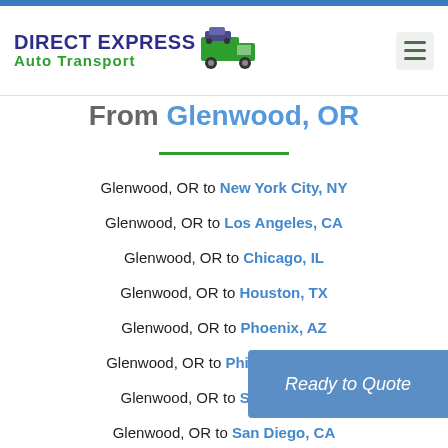[Figure (logo): Direct Express Auto Transport logo with truck icon]
From Glenwood, OR
Glenwood, OR to New York City, NY
Glenwood, OR to Los Angeles, CA
Glenwood, OR to Chicago, IL
Glenwood, OR to Houston, TX
Glenwood, OR to Phoenix, AZ
Glenwood, OR to Philadelphia, PA
Glenwood, OR to San Antonio
Glenwood, OR to San Diego, CA